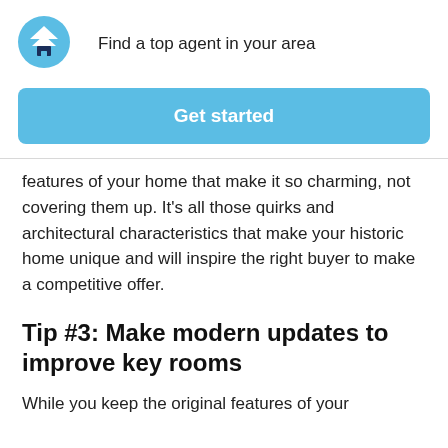Find a top agent in your area
[Figure (logo): Blue circular logo with white chevron/arrow up and house icon]
Get started
features of your home that make it so charming, not covering them up. It’s all those quirks and architectural characteristics that make your historic home unique and will inspire the right buyer to make a competitive offer.
Tip #3: Make modern updates to improve key rooms
While you keep the original features of your